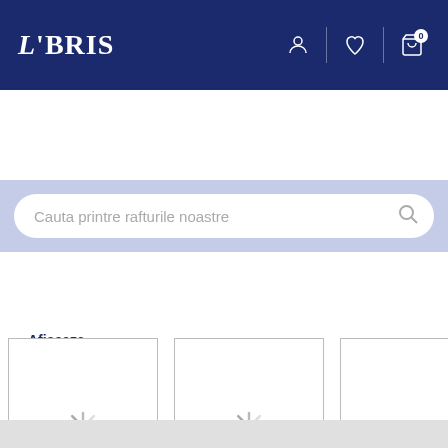LIBRIS
Cauta printre rafturile noastre
Afiseaza mai mult
De pe acelasi raft
[Figure (illustration): Three book product cards with loading spinners, partially visible; a fourth card is cut off on the right edge.]